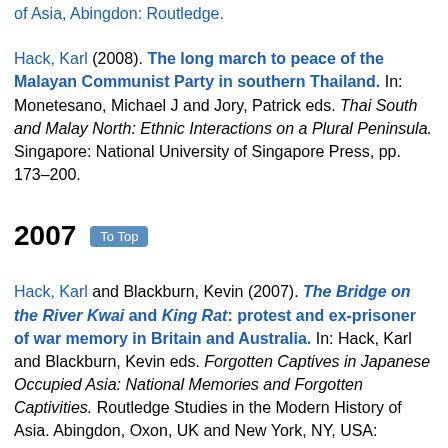of Asia. Abingdon: Routledge.
Hack, Karl (2008). The long march to peace of the Malayan Communist Party in southern Thailand. In: Monetesano, Michael J and Jory, Patrick eds. Thai South and Malay North: Ethnic Interactions on a Plural Peninsula. Singapore: National University of Singapore Press, pp. 173–200.
2007
Hack, Karl and Blackburn, Kevin (2007). The Bridge on the River Kwai and King Rat: protest and ex-prisoner of war memory in Britain and Australia. In: Hack, Karl and Blackburn, Kevin eds. Forgotten Captives in Japanese Occupied Asia: National Memories and Forgotten Captivities. Routledge Studies in the Modern History of Asia. Abingdon, Oxon, UK and New York, NY, USA: Routledge